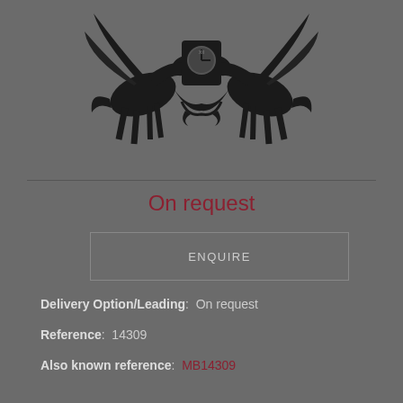[Figure (logo): Heraldic crest with two rearing horses/unicorns flanking a central shield with clock motif, rendered in black on grey background]
On request
ENQUIRE
Delivery Option/Leading:  On request
Reference:  14309
Also known reference:  MB14309